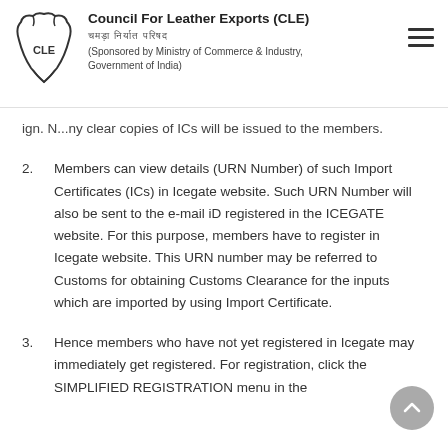Council For Leather Exports (CLE)
(Sponsored by Ministry of Commerce & Industry, Government of India)
...no physical copies of ICs will be issued to the members.
2. Members can view details (URN Number) of such Import Certificates (ICs) in Icegate website. Such URN Number will also be sent to the e-mail iD registered in the ICEGATE website. For this purpose, members have to register in Icegate website. This URN number may be referred to Customs for obtaining Customs Clearance for the inputs which are imported by using Import Certificate.
3. Hence members who have not yet registered in Icegate may immediately get registered. For registration, click the SIMPLIFIED REGISTRATION menu in the